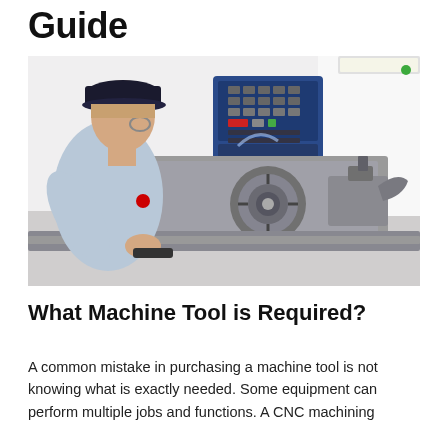Guide
[Figure (photo): A young man wearing a dark baseball cap and glasses, dressed in a light blue t-shirt, operating a metal lathe/CNC machine tool in a workshop setting. The machine has a blue control panel with buttons and display.]
What Machine Tool is Required?
A common mistake in purchasing a machine tool is not knowing what is exactly needed. Some equipment can perform multiple jobs and functions. A CNC machining